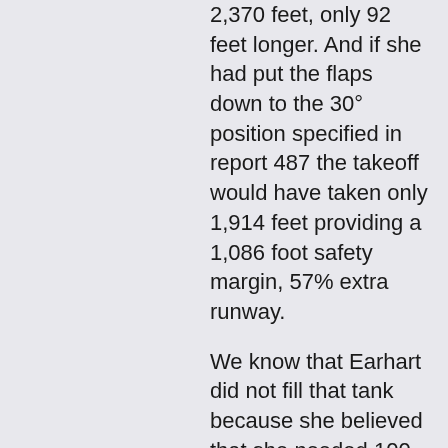2,370 feet, only 92 feet longer. And if she had put the flaps down to the 30° position specified in report 487 the takeoff would have taken only 1,914 feet providing a 1,086 foot safety margin, 57% extra runway.
We know that Earhart did not fill that tank because she believed that she needed 100 octane fuel to get maximum power out of her engines but Pratt and Whitney documents show that the engines make full takeoff power of 600 horsepower using the 87 octane fuel available at Lae (Jeff Neville disputes